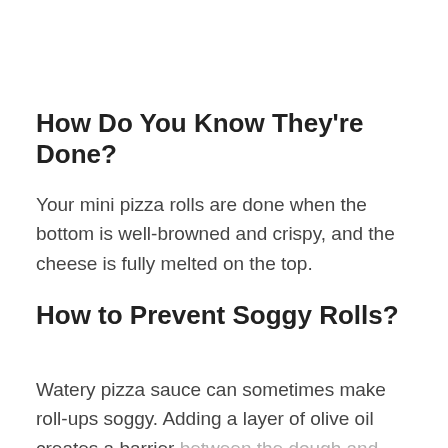How Do You Know They're Done?
Your mini pizza rolls are done when the bottom is well-browned and crispy, and the cheese is fully melted on the top.
How to Prevent Soggy Rolls?
Watery pizza sauce can sometimes make roll-ups soggy. Adding a layer of olive oil creates a barrier between the dough and sauce to ensure you get nice, crispy rolls.